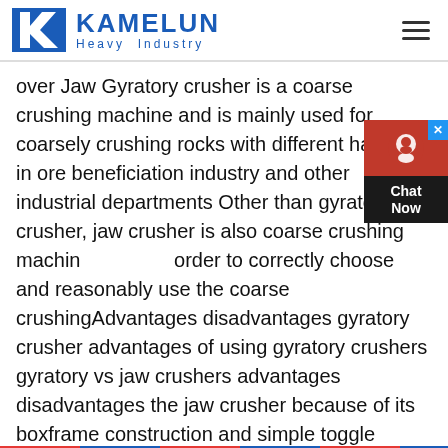KAMELUN Heavy Industry
over Jaw Gyratory crusher is a coarse crushing machine and is mainly used for coarsely crushing rocks with different hardness in ore beneficiation industry and other industrial departments Other than gyratory crusher, jaw crusher is also coarse crushing machine order to correctly choose and reasonably use the coarse crushingAdvantages disadvantages gyratory crusher advantages of using gyratory crushers gyratory vs jaw crushers advantages disadvantages the jaw crusher because of its boxframe construction and simple toggle mechanism is especially well adapted to extra heavy design for the crushing of extremely tough materials in this respect it holds some advantage over the gyratory type because the extra strengthgyratory crusher advantages and disadvantages